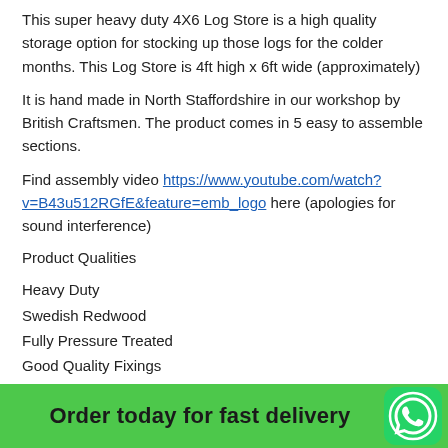This super heavy duty 4X6 Log Store is a high quality storage option for stocking up those logs for the colder months. This Log Store is 4ft high x 6ft wide (approximately)
It is hand made in North Staffordshire in our workshop by British Craftsmen. The product comes in 5 easy to assemble sections.
Find assembly video https://www.youtube.com/watch?v=B43u512RGfE&feature=emb_logo here (apologies for sound interference)
Product Qualities
Heavy Duty
Swedish Redwood
Fully Pressure Treated
Good Quality Fixings
Order today for fast delivery